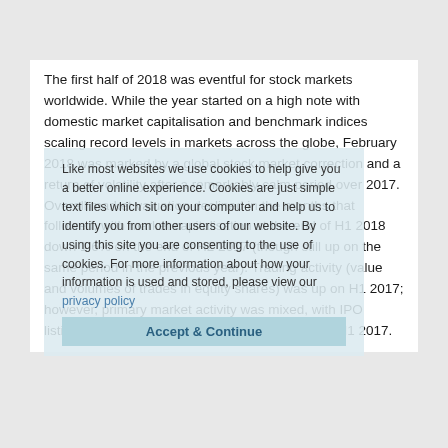The first half of 2018 was eventful for stock markets worldwide. While the year started on a high note with domestic market capitalisation and benchmark indices scaling record levels in markets across the globe, February 2018 was marked by a global stock market correction and a return of volatility after a remarkably calm period over 2017. Overall market valuation declined in the months that followed, with market capitalisation at the end of H1 2018 down 1.6% on the end of H2 2017 (though still up on the same period in the previous year). Trading activity (value and volumes of trades in equity shares) was up on H1 2017; however, primary market activity was mixed, with IPO listings down and investment flows slightly up on H1 2017.
Like most websites we use cookies to help give you a better online experience. Cookies are just simple text files which sit on your computer and help us to identify you from other users of our website. By using this site you are consenting to the use of cookies. For more information about how your information is used and stored, please view our privacy policy